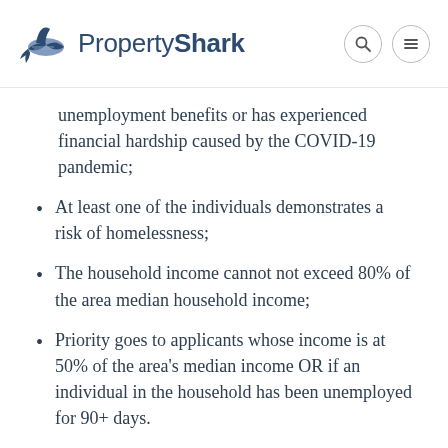PropertyShark
unemployment benefits or has experienced financial hardship caused by the COVID-19 pandemic;
At least one of the individuals demonstrates a risk of homelessness;
The household income cannot not exceed 80% of the area median household income;
Priority goes to applicants whose income is at 50% of the area's median income OR if an individual in the household has been unemployed for 90+ days.